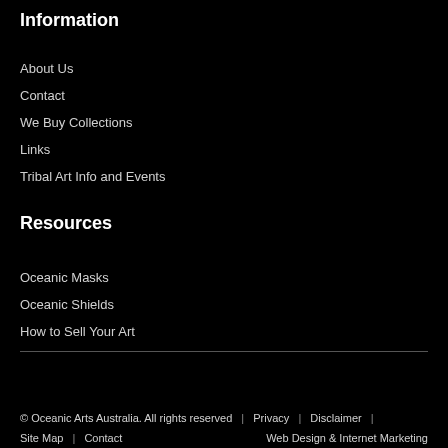Information
About Us
Contact
We Buy Collections
Links
Tribal Art Info and Events
Resources
Oceanic Masks
Oceanic Shields
How to Sell Your Art
© Oceanic Arts Australia. All rights reserved  |  Privacy  |  Disclaimer  |  Site Map  |  Contact
Web Design & Internet Marketing